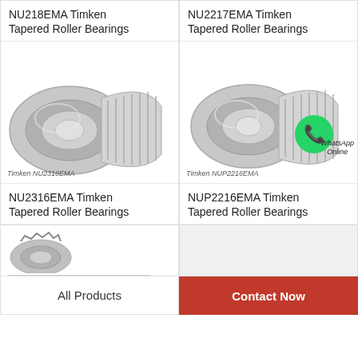NU218EMA Timken Tapered Roller Bearings
[Figure (photo): Timken NU2316EMA tapered roller bearing product photo, silver/grey metallic bearing components]
Timken NU2316EMA
NU2217EMA Timken Tapered Roller Bearings
[Figure (photo): Timken NUP2216EMA tapered roller bearing product photo with WhatsApp Online badge overlay]
Timken NUP2216EMA
NU2316EMA Timken Tapered Roller Bearings
NUP2216EMA Timken Tapered Roller Bearings
[Figure (photo): Partial view of a bearing product at bottom left]
All Products
Contact Now